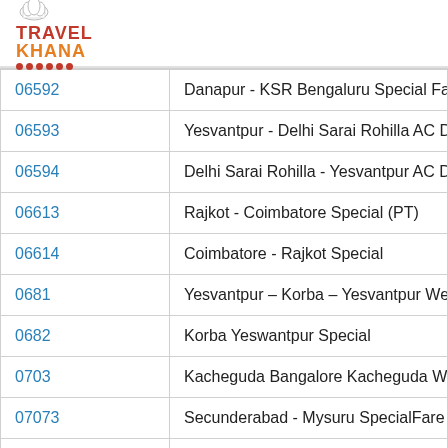[Figure (logo): TravelKhana logo with chef hat icon, red TRAVEL text, orange KHANA text, and red dots underline]
| Code | Train Name |
| --- | --- |
| 06592 | Danapur - KSR Bengaluru Special Fare Speci… |
| 06593 | Yesvantpur - Delhi Sarai Rohilla AC Duronto |
| 06594 | Delhi Sarai Rohilla - Yesvantpur AC Duronto |
| 06613 | Rajkot - Coimbatore Special (PT) |
| 06614 | Coimbatore - Rajkot Special |
| 0681 | Yesvantpur – Korba – Yesvantpur Weekly Su… |
| 0682 | Korba Yeswantpur Special |
| 0703 | Kacheguda Bangalore Kacheguda Weekly Sp… |
| 07073 | Secunderabad - Mysuru SpecialFare Special |
| 07074 | Mysuru - Secunderabad Specialfare Special… |